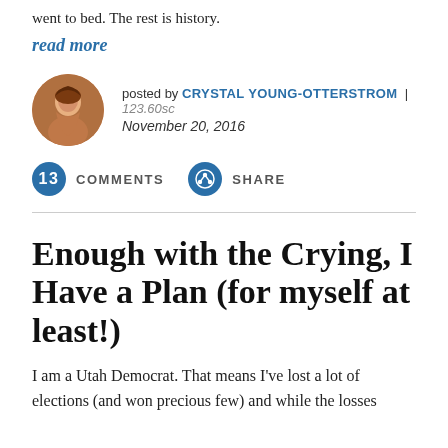went to bed.   The rest is history.
read more
posted by CRYSTAL YOUNG-OTTERSTROM | 123.60sc
November 20, 2016
13  COMMENTS    SHARE
Enough with the Crying, I Have a Plan (for myself at least!)
I am a Utah Democrat. That means I've lost a lot of elections (and won precious few) and while the losses